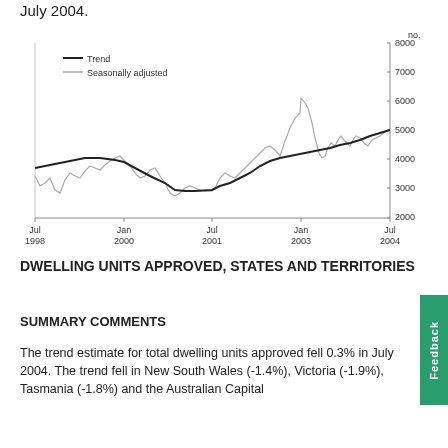July 2004.
[Figure (line-chart): ]
DWELLING UNITS APPROVED, STATES AND TERRITORIES
SUMMARY COMMENTS
The trend estimate for total dwelling units approved fell 0.3% in July 2004. The trend fell in New South Wales (-1.4%), Victoria (-1.9%), Tasmania (-1.8%) and the Australian Capital